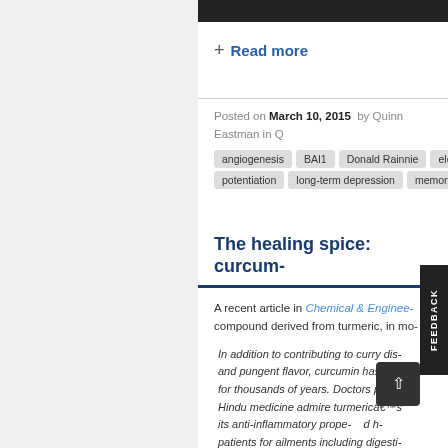+ Read more
Posted on March 10, 2015 by Quinn Eastman in C
angiogenesis | BAI1 | Donald Rainnie | ele- | potentiation | long-term depression | memory
The healing spice: curcum-
A recent article in Chemical & Enginee- compound derived from turmeric, in mo-
In addition to contributing to curry dis- and pungent flavor, curcumin has bee- for thousands of years. Doctors pract- Hindu medicine admire turmericâ€™s its anti-inflammatory prope- and h- patients for ailments including digesti-